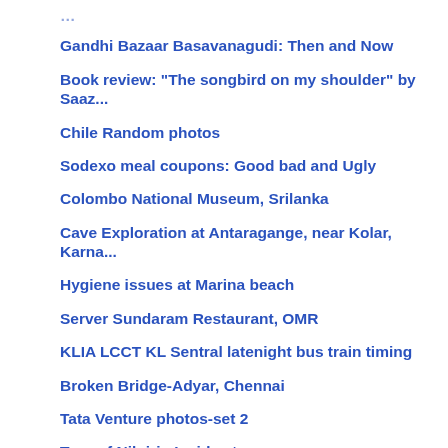Gandhi Bazaar Basavanagudi: Then and Now
Book review: "The songbird on my shoulder" by Saaz...
Chile Random photos
Sodexo meal coupons: Good bad and Ugly
Colombo National Museum, Srilanka
Cave Exploration at Antaragange, near Kolar, Karna...
Hygiene issues at Marina beach
Server Sundaram Restaurant, OMR
KLIA LCCT KL Sentral latenight bus train timing
Broken Bridge-Adyar, Chennai
Tata Venture photos-set 2
Tour of Nilgiris-Inside story
Tata Venture vs Maruti Eeco vs Maruti Omni
Got a mention in The Hindu NXG
NICE road Blr-will it remain nice?
Tata Venture GX-test drive and review